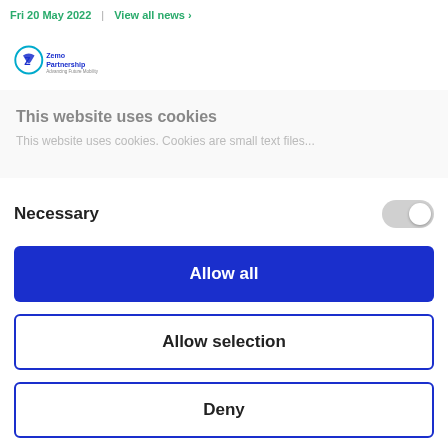Fri 20 May 2022 | View all news >
[Figure (logo): Zemo Partnership logo – circular icon with Z and company name]
This website uses cookies
This website uses cookies. Cookies are small text files...
Necessary
Allow all
Allow selection
Deny
Powered by Cookiebot by Usercentrics